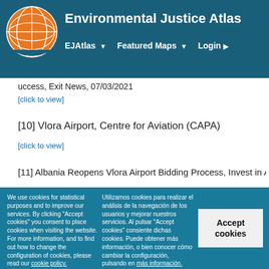Environmental Justice Atlas — EJAtlas | Featured Maps | Login
uccess, Exit News, 07/03/2021
[click to view]
[10] Vlora Airport, Centre for Aviation (CAPA)
[click to view]
[11] Albania Reopens Vlora Airport Bidding Process, Invest in Albania
We use cookies for statistical purposes and to improve our services. By clicking "Accept cookies" you consent to place cookies when visiting the website. For more information, and to find out how to change the configuration of cookies, please read our cookie policy.
Utilizamos cookies para realizar el análisis de la navegación de los usuarios y mejorar nuestros servicios. Al pulsar "Accept cookies" consiente dichas cookies. Puede obtener más información, o bien conocer cómo cambiar la configuración, pulsando en más información.